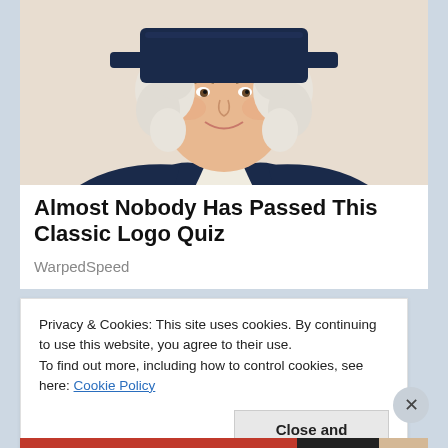[Figure (illustration): Illustration of a colonial-era man (Quaker Oats mascot style) wearing a dark navy coat and white cravat, with white curly wig and a navy hat, smiling, shown from the waist up against a white background.]
Almost Nobody Has Passed This Classic Logo Quiz
WarpedSpeed
Privacy & Cookies: This site uses cookies. By continuing to use this website, you agree to their use.
To find out more, including how to control cookies, see here: Cookie Policy
Close and accept